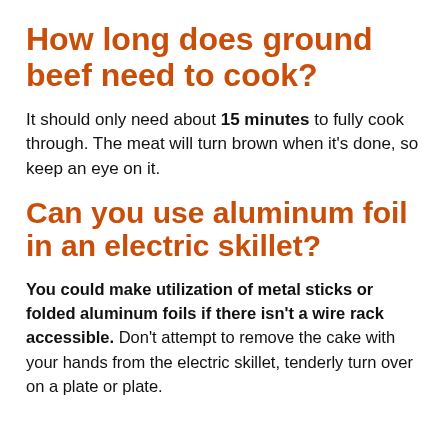How long does ground beef need to cook?
It should only need about 15 minutes to fully cook through. The meat will turn brown when it’s done, so keep an eye on it.
Can you use aluminum foil in an electric skillet?
You could make utilization of metal sticks or folded aluminum foils if there isn’t a wire rack accessible. Don’t attempt to remove the cake with your hands from the electric skillet, tenderly turn over on a plate or plate.